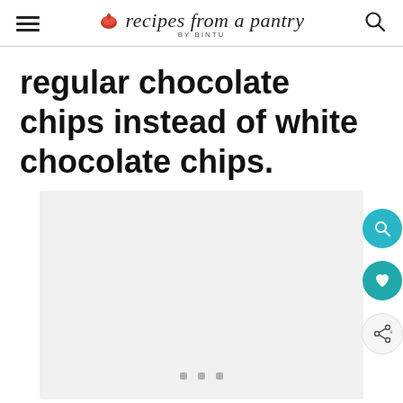recipes from a pantry BY BINTU
regular chocolate chips instead of white chocolate chips.
[Figure (photo): Light gray image placeholder area with three small gray square dots at the bottom center, and floating action buttons (search, heart, share) on the right side.]